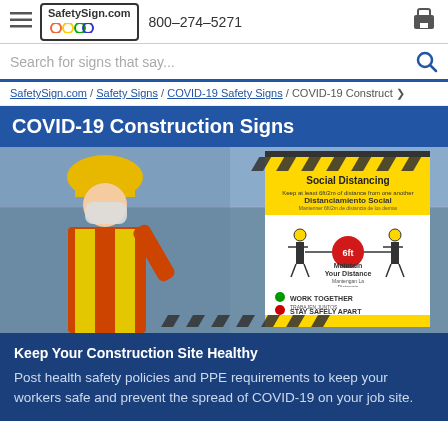SafetySign.com  800-274-5271
Search for signs that say...
SafetySign.com / Safety Signs / COVID-19 Safety Signs / COVID-19 Construct>
COVID-19 Construction Signs
[Figure (photo): Construction worker wearing yellow hard hat, safety mask, and orange hi-vis vest, standing near a chain link fence. A Social Distancing sign is visible showing 6ft distance requirement with bilingual text in English and Spanish. Sign reads: Social Distancing, Keep at least 6ft/2m of distance from one another, Distanciamiento Social, Mantenner 6ft/2m de distancia de los demas, Maintain Your Distance, Mantengan La Distancia, WORK TOGETHER TRABAJEN JUNTOS, STAY SAFELY APART MANTENGAN LA DISTANCIA]
Keep Your Construction Site Healthy
Post health safety policies and PPE requirements to keep your workers safe and prevent the spread of COVID-19 on your job site.